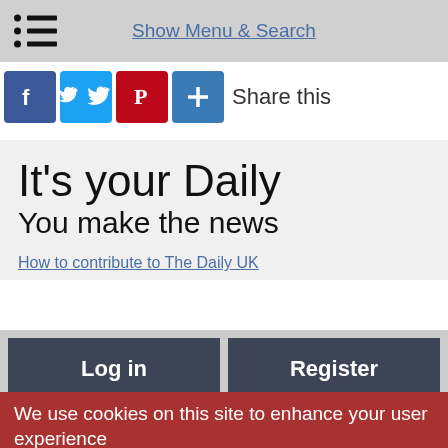Show Menu & Search
Share this
It's your Daily
You make the news
How to contribute to The Daily UK
Log in
Register
We use cookies on this site to enhance your user experience
By clicking the Accept button, you agree to us doing so.
No, give me more info